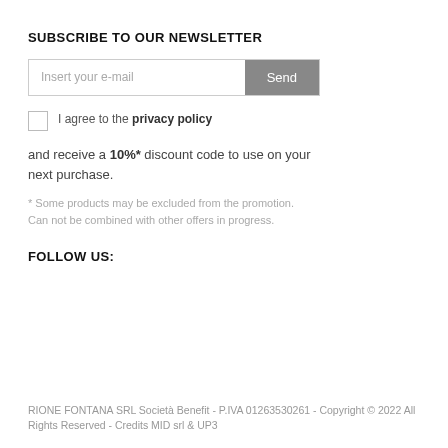SUBSCRIBE TO OUR NEWSLETTER
Insert your e-mail  Send
I agree to the privacy policy
and receive a 10%* discount code to use on your next purchase.
* Some products may be excluded from the promotion. Can not be combined with other offers in progress.
FOLLOW US:
RIONE FONTANA SRL Società Benefit - P.IVA 01263530261 - Copyright © 2022 All Rights Reserved - Credits MID srl & UP3